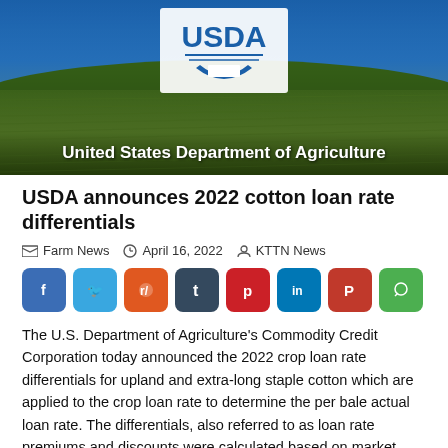[Figure (photo): USDA banner image showing aerial view of agricultural fields with USDA logo and text 'United States Department of Agriculture']
USDA announces 2022 cotton loan rate differentials
Farm News  April 16, 2022  KTTN News
[Figure (infographic): Social media share buttons: Facebook, Twitter, Reddit, Tumblr, Pinterest, LinkedIn, Parler, WhatsApp]
The U.S. Department of Agriculture's Commodity Credit Corporation today announced the 2022 crop loan rate differentials for upland and extra-long staple cotton which are applied to the crop loan rate to determine the per bale actual loan rate. The differentials, also referred to as loan rate premiums and discounts were calculated based on market valuations [...]